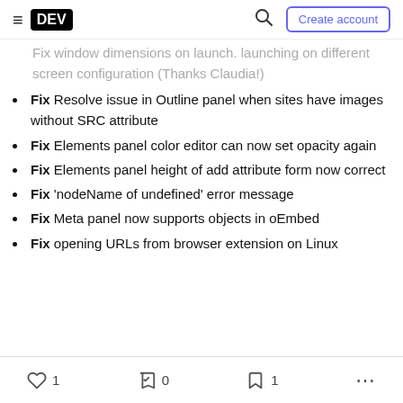DEV — Create account
Fix window dimensions on launch. launching on different screen configuration (Thanks Claudia!)
Fix Resolve issue in Outline panel when sites have images without SRC attribute
Fix Elements panel color editor can now set opacity again
Fix Elements panel height of add attribute form now correct
Fix 'nodeName of undefined' error message
Fix Meta panel now supports objects in oEmbed
Fix opening URLs from browser extension on Linux
1 reactions · 0 unicorns · 1 bookmarks